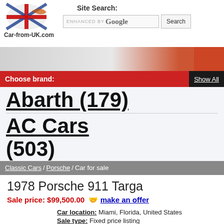[Figure (logo): Car-from-UK.com logo with Union Jack flag motif and car silhouette]
Car-from-UK.com
Site Search:
ENHANCED BY Google
Search
Choose brand:
Show All
Abarth (179)
AC Cars (503)
Classic Cars / Porsche / Car for sale
1978 Porsche 911 Targa
Sale price: $99,500.00  make an offer
Car location: Miami, Florida, United States
Sale type: Fixed price listing